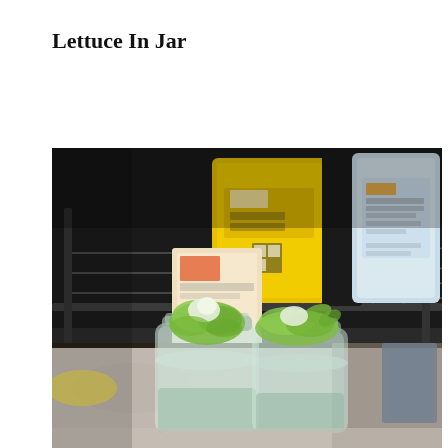Lettuce In Jar
[Figure (photo): Two glass mason jars filled with lettuce leaves sitting on a kitchen counter, with canned goods on a wire shelf rack visible in the background, including a yellow can and a blue can. A small cardboard box and other kitchen items are also visible.]